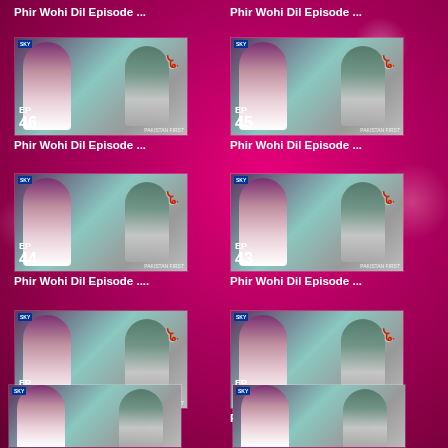Phir Wohi Dil Episode ...
[Figure (photo): TV drama thumbnail showing EP 46 of Phir Wohi Dil]
Phir Wohi Dil Episode ...
[Figure (photo): TV drama thumbnail showing EP 45 of Phir Wohi Dil]
Phir Wohi Dil Episode ...
[Figure (photo): TV drama thumbnail showing EP 44 of Phir Wohi Dil]
Phir Wohi Dil Episode ...
[Figure (photo): TV drama thumbnail showing EP 43 of Phir Wohi Dil]
Phir Wohi Dil Episode ...
[Figure (photo): TV drama thumbnail showing EP 42 of Phir Wohi Dil]
Phir Wohi Dil Episode ...
[Figure (photo): TV drama thumbnail showing EP 40 of Phir Wohi Dil]
[Figure (photo): TV drama thumbnail partially visible at bottom left]
[Figure (photo): TV drama thumbnail partially visible at bottom right]